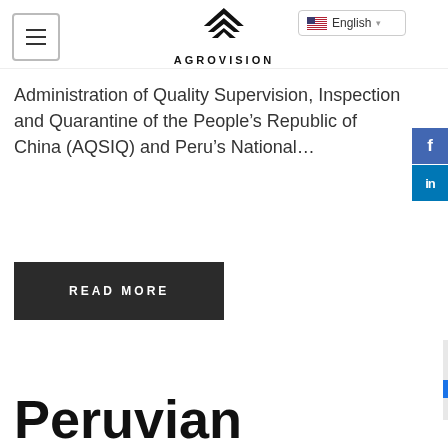AGROVISION
Administration of Quality Supervision, Inspection and Quarantine of the People's Republic of China (AQSIQ) and Peru's National...
READ MORE
Peruvian